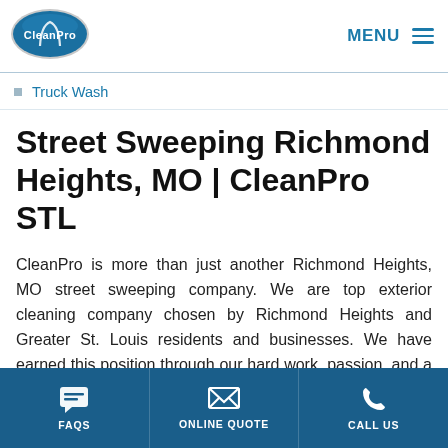[Figure (logo): CleanPro logo — blue oval with white text 'CleanPro' and St. Louis arch graphic]
Truck Wash
Street Sweeping Richmond Heights, MO | CleanPro STL
CleanPro is more than just another Richmond Heights, MO street sweeping company. We are top exterior cleaning company chosen by Richmond Heights and Greater St. Louis residents and businesses. We have earned this position through our hard work, passion, and a commitment to excellent and honest service. When we
FAQS | ONLINE QUOTE | CALL US